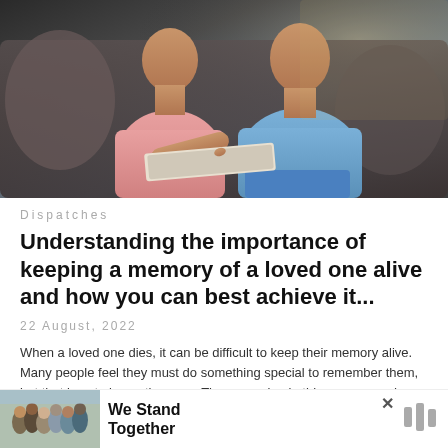[Figure (photo): Two people sitting on a couch looking at a photo album or newspaper together — one in a pink top and one in blue medical scrubs]
Dispatches
Understanding the importance of keeping a memory of a loved one alive and how you can best achieve it...
22 August, 2022
When a loved one dies, it can be difficult to keep their memory alive. Many people feel they must do something special to remember them, but that is not always the case. There are simple things you can do eve...
[Figure (photo): Advertisement banner: group of people with arms around each other seen from behind, with text 'We Stand Together' and a logo]